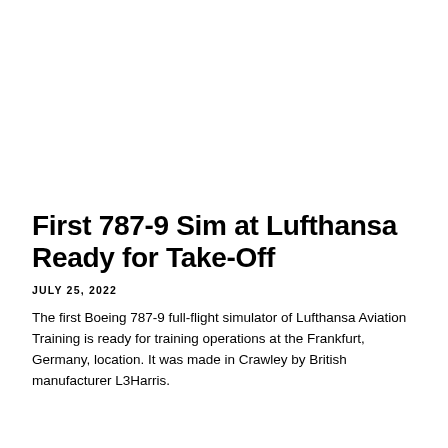First 787-9 Sim at Lufthansa Ready for Take-Off
JULY 25, 2022
The first Boeing 787-9 full-flight simulator of Lufthansa Aviation Training is ready for training operations at the Frankfurt, Germany, location. It was made in Crawley by British manufacturer L3Harris.